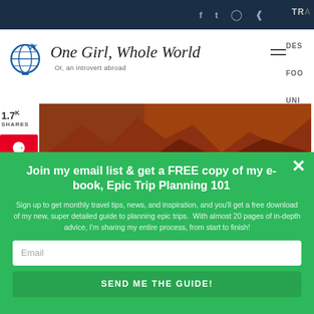f  t  (instagram)  (pinterest)  TRA
[Figure (logo): Globe with airplane icon and 'One Girl, Whole World - Or, an introvert abroad' blog logo]
[Figure (photo): Hero photo of a person standing in a red rock canyon landscape]
1.7K SHARES
Join my email list & get a FREE copy of my e-book, Epic Trip Planning 101
Sign up to get monthly travel tips, news, and inspiration, and you'll get a free download of my new, super detailed guide to planning epic trips.  With almost 20 pages of in-depth advice, I'm sharing my entire process, from start to finish!
Email
SEND ME THE GUIDE!